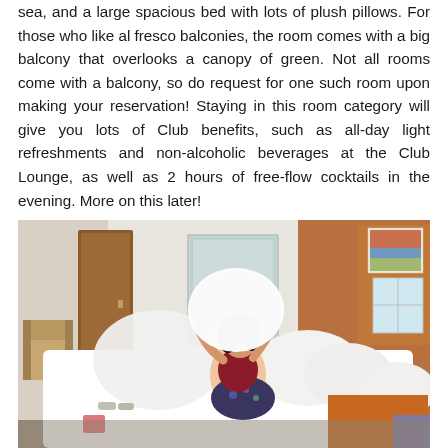sea, and a large spacious bed with lots of plush pillows. For those who like al fresco balconies, the room comes with a big balcony that overlooks a canopy of green. Not all rooms come with a balcony, so do request for one such room upon making your reservation! Staying in this room category will give you lots of Club benefits, such as all-day light refreshments and non-alcoholic beverages at the Club Lounge, as well as 2 hours of free-flow cocktails in the evening. More on this later!
[Figure (photo): A person sitting on a large white bed with many pillows in a hotel room, tossing or holding a pillow. The room has wooden panel walls, a mirror, artwork on the wall, and a window. Modern, bright room interior.]